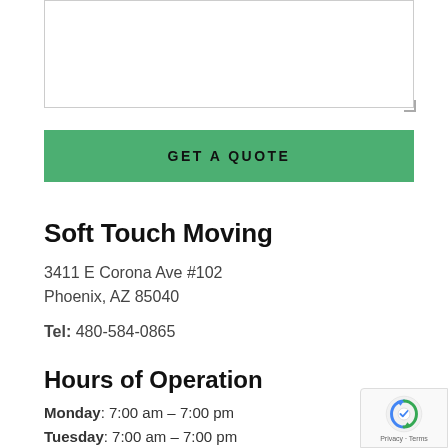[Figure (other): Empty textarea input box with resize handle in bottom-right corner]
GET A QUOTE
Soft Touch Moving
3411 E Corona Ave #102
Phoenix, AZ 85040
Tel: 480-584-0865
Hours of Operation
Monday: 7:00 am – 7:00 pm
Tuesday: 7:00 am – 7:00 pm
Wednesday: 7:00 am – 7:00 pm